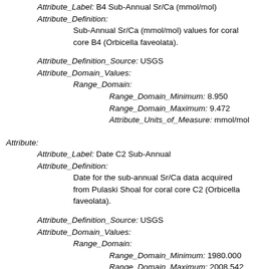Attribute_Label: B4 Sub-Annual Sr/Ca (mmol/mol)
Attribute_Definition:
Sub-Annual Sr/Ca (mmol/mol) values for coral core B4 (Orbicella faveolata).
Attribute_Definition_Source: USGS
Attribute_Domain_Values:
Range_Domain:
Range_Domain_Minimum: 8.950
Range_Domain_Maximum: 9.472
Attribute_Units_of_Measure: mmol/mol
Attribute:
Attribute_Label: Date C2 Sub-Annual
Attribute_Definition:
Date for the sub-annual Sr/Ca data acquired from Pulaski Shoal for coral core C2 (Orbicella faveolata).
Attribute_Definition_Source: USGS
Attribute_Domain_Values:
Range_Domain:
Range_Domain_Minimum: 1980.000
Range_Domain_Maximum: 2008.542
Attribute_Units_of_Measure: Decimal Year